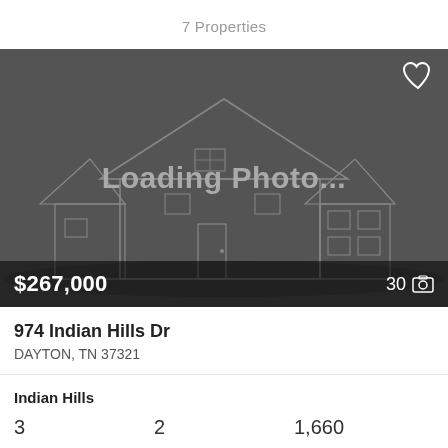7 Properties
[Figure (photo): Real estate listing photo placeholder showing a grey loading screen with a house wireframe illustration and text 'Loading Photo...' with price $267,000 and 30 photos indicated]
974 Indian Hills Dr
DAYTON, TN 37321
Indian Hills
3  2  1,660